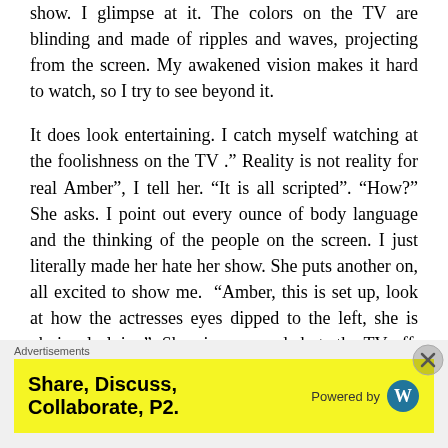show. I glimpse at it. The colors on the TV are blinding and made of ripples and waves, projecting from the screen. My awakened vision makes it hard to watch, so I try to see beyond it.
It does look entertaining. I catch myself watching at the foolishness on the TV ." Reality is not reality for real Amber", I tell her. "It is all scripted". "How?" She asks. I point out every ounce of body language and the thinking of the people on the screen. I just literally made her hate her show. She puts another on, all excited to show me. "Amber, this is set up, look at how the actresses eyes dipped to the left, she is obviously lying". She gives up and shuts the TV off. Instead, we go
Advertisements
[Figure (other): Yellow advertisement banner reading 'Share, Discuss, Collaborate, P2.' with 'Powered by WordPress' logo on the right]